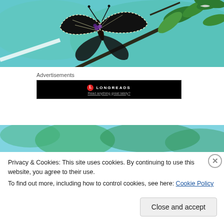[Figure (photo): Close-up photo of a zebra butterfly on a plant branch with green leaves against a light blue sky background]
Advertisements
[Figure (screenshot): Longreads advertisement banner on black background with red circle logo, brand name LONGREADS, and text 'Read anything great lately?']
[Figure (photo): Background photo of green tree leaves against a light blue sky]
Privacy & Cookies: This site uses cookies. By continuing to use this website, you agree to their use.
To find out more, including how to control cookies, see here: Cookie Policy
Close and accept